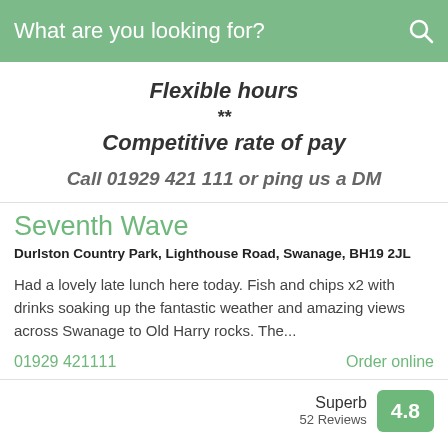What are you looking for?
Flexible hours
**
Competitive rate of pay
Call 01929 421 111 or ping us a DM
Seventh Wave
Durlston Country Park, Lighthouse Road, Swanage, BH19 2JL
Had a lovely late lunch here today. Fish and chips x2 with drinks soaking up the fantastic weather and amazing views across Swanage to Old Harry rocks. The...
01929 421111
Order online
Superb
52 Reviews
4.8